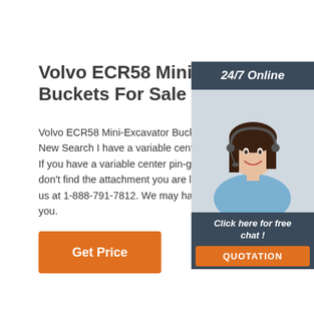Volvo ECR58 Mini-Excavator Buckets For Sale
Volvo ECR58 Mini-Excavator Buckets For Sale New Search I have a variable center pin-grabber coup If you have a variable center pin-grabber coup don't find the attachment you are looking for, p us at 1-888-791-7812. We may have other opt you.
[Figure (photo): Customer support representative woman with headset, smiling, with 24/7 Online label and chat/quotation call-to-action sidebar]
Get Price